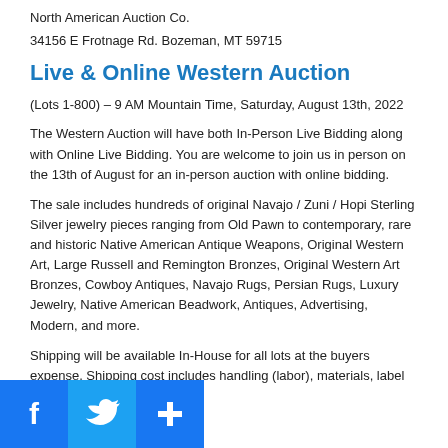North American Auction Co.
34156 E Frotnage Rd. Bozeman, MT 59715
Live & Online Western Auction
(Lots 1-800) – 9 AM Mountain Time, Saturday, August 13th, 2022
The Western Auction will have both In-Person Live Bidding along with Online Live Bidding. You are welcome to join us in person on the 13th of August for an in-person auction with online bidding.
The sale includes hundreds of original Navajo / Zuni / Hopi Sterling Silver jewelry pieces ranging from Old Pawn to contemporary, rare and historic Native American Antique Weapons, Original Western Art, Large Russell and Remington Bronzes, Original Western Art Bronzes, Cowboy Antiques, Navajo Rugs, Persian Rugs, Luxury Jewelry, Native American Beadwork, Antiques, Advertising, Modern, and more.
Shipping will be available In-House for all lots at the buyers expense. Shipping cost includes handling (labor), materials, label
[Figure (infographic): Social media buttons: Facebook (blue), Twitter (blue), Share/Plus (blue)]